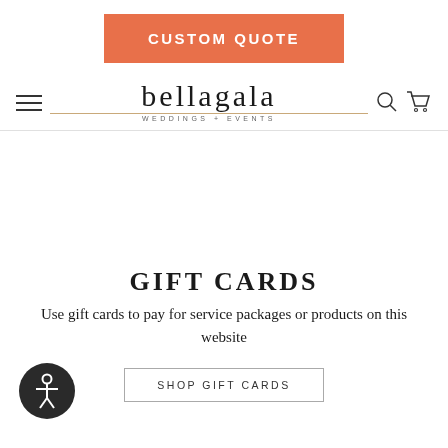[Figure (screenshot): Orange 'CUSTOM QUOTE' button at the top center of the page]
bellagala WEDDINGS + EVENTS — navigation header with hamburger menu, logo, search and cart icons
[Figure (other): Large blank white area (likely a loading image area)]
GIFT CARDS
Use gift cards to pay for service packages or products on this website
[Figure (other): SHOP GIFT CARDS button]
[Figure (other): Accessibility icon circle (dark circle with person/accessibility symbol)]